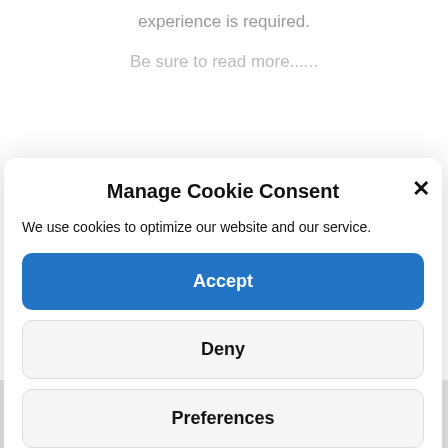experience is required.
Be sure to read more......
Manage Cookie Consent
We use cookies to optimize our website and our service.
Accept
Deny
Preferences
Cookie Policy   Privacy Policy
How can we assist?